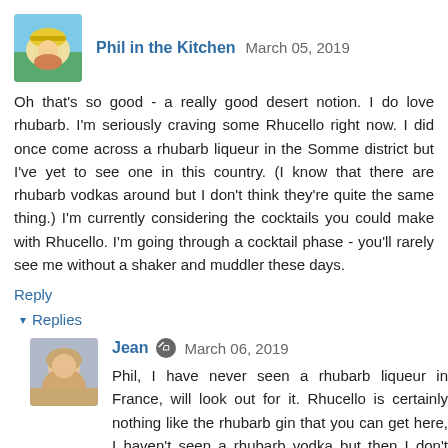[Figure (photo): Avatar image of Phil in the Kitchen - cartoon/illustrated avatar with hat against sky background]
Phil in the Kitchen  March 05, 2019
Oh that's so good - a really good desert notion. I do love rhubarb. I'm seriously craving some Rhucello right now. I did once come across a rhubarb liqueur in the Somme district but I've yet to see one in this country. (I know that there are rhubarb vodkas around but I don't think they're quite the same thing.) I'm currently considering the cocktails you could make with Rhucello. I'm going through a cocktail phase - you'll rarely see me without a shaker and muddler these days.
Reply
▾ Replies
[Figure (photo): Avatar photo of Jean - photo of a woman]
Jean  March 06, 2019
Phil, I have never seen a rhubarb liqueur in France, will look out for it. Rhucello is certainly nothing like the rhubarb gin that you can get here, I haven't seen a rhubarb vodka but then I don't drink vodka so wouldn't notice it! Rhucello would make a lovely cocktail, I'm sure.